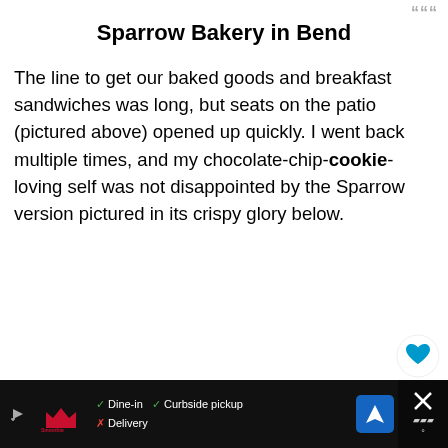Sparrow Bakery in Bend
The line to get our baked goods and breakfast sandwiches was long, but seats on the patio (pictured above) opened up quickly. I went back multiple times, and my chocolate-chip-cookie-loving self was not disappointed by the Sparrow version pictured in its crispy glory below.
[Figure (photo): Photo of a chocolate-chip cookie from Sparrow Bakery, shown in crispy golden-brown close-up with green bokeh background]
[Figure (infographic): Ad bar showing Smoothie King logo with Dine-in (checkmark), Curbside pickup (checkmark), Delivery (X) options, navigation icon, close/weather widget]